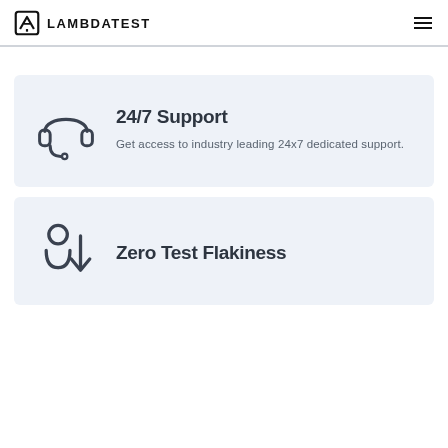LAMBDATEST
[Figure (illustration): Headset/headphones icon inside light blue card]
24/7 Support
Get access to industry leading 24x7 dedicated support.
[Figure (illustration): Zero test flakiness icon with person and arrow down inside light blue card]
Zero Test Flakiness